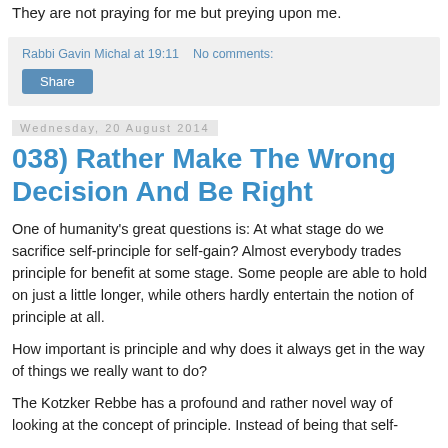They are not praying for me but preying upon me.
Rabbi Gavin Michal at 19:11   No comments:
Share
Wednesday, 20 August 2014
038) Rather Make The Wrong Decision And Be Right
One of humanity's great questions is: At what stage do we sacrifice self-principle for self-gain? Almost everybody trades principle for benefit at some stage. Some people are able to hold on just a little longer, while others hardly entertain the notion of principle at all.
How important is principle and why does it always get in the way of things we really want to do?
The Kotzker Rebbe has a profound and rather novel way of looking at the concept of principle. Instead of being that self-